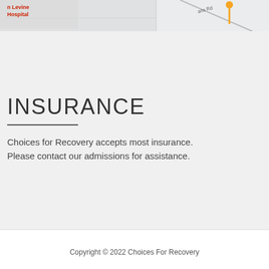[Figure (map): Partial map screenshot showing 'n Levine Hospital' label in red and a road labeled 'ans Rd' with a location pin marker]
INSURANCE
Choices for Recovery accepts most insurance. Please contact our admissions for assistance.
Copyright © 2022 Choices For Recovery